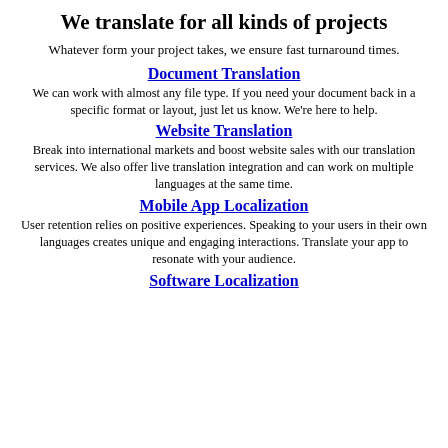We translate for all kinds of projects
Whatever form your project takes, we ensure fast turnaround times.
Document Translation
We can work with almost any file type. If you need your document back in a specific format or layout, just let us know. We're here to help.
Website Translation
Break into international markets and boost website sales with our translation services. We also offer live translation integration and can work on multiple languages at the same time.
Mobile App Localization
User retention relies on positive experiences. Speaking to your users in their own languages creates unique and engaging interactions. Translate your app to resonate with your audience.
Software Localization